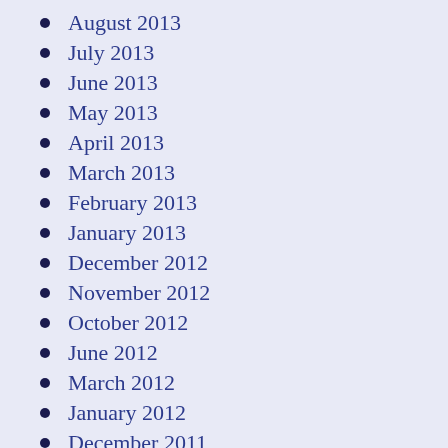August 2013
July 2013
June 2013
May 2013
April 2013
March 2013
February 2013
January 2013
December 2012
November 2012
October 2012
June 2012
March 2012
January 2012
December 2011
November 2011
October...